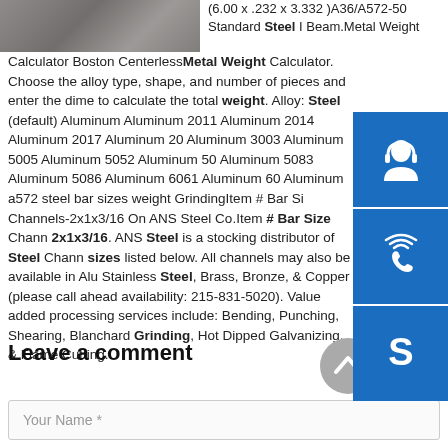[Figure (photo): Partial photo of steel materials or industrial setting, cropped at top-left]
(6.00 x .232 x 3.332 )A36/A572-50 Standard Steel I Beam.Metal Weight Calculator Boston CenterlessMetal Weight Calculator. Choose the alloy type, shape, and number of pieces and enter the dimensions to calculate the total weight. Alloy: Steel (default) Aluminum Aluminum 2011 Aluminum 2014 Aluminum 2017 Aluminum 20_ Aluminum 3003 Aluminum 5005 Aluminum 5052 Aluminum 50_ Aluminum 5083 Aluminum 5086 Aluminum 6061 Aluminum 60_ Aluminum a572 steel bar sizes weight GrindingItem # Bar Si_ Channels-2x1x3/16 On ANS Steel Co.Item # Bar Size Chann_ 2x1x3/16. ANS Steel is a stocking distributor of Steel Chann_ sizes listed below. All channels may also be available in Alu_ Stainless Steel, Brass, Bronze, & Copper (please call ahead availability: 215-831-5020). Value added processing services include: Bending, Punching, Shearing, Blanchard Grinding, Hot Dipped Galvanizing, & Flame Cutting.
[Figure (infographic): Blue sidebar with three icons: headset/support icon, phone/call icon, Skype icon]
Leave a comment
[Figure (other): Gray circular scroll-to-top button with upward chevron arrow]